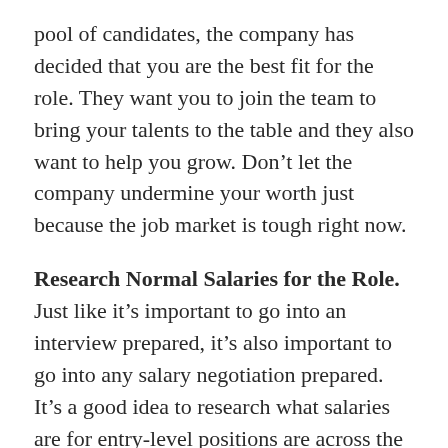pool of candidates, the company has decided that you are the best fit for the role. They want you to join the team to bring your talents to the table and they also want to help you grow. Don't let the company undermine your worth just because the job market is tough right now.
Research Normal Salaries for the Role. Just like it's important to go into an interview prepared, it's also important to go into any salary negotiation prepared. It's a good idea to research what salaries are for entry-level positions are across the industry, so there is reasoning behind why you are brining a specific number to the table.
Factor in Non-Salary Benefits. What does health insurance look like? How is paid time off? Don't